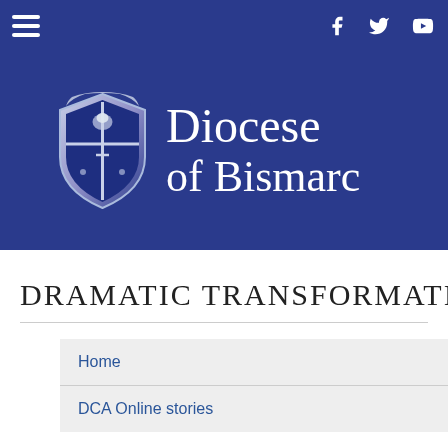Diocese of Bismarck website navigation header with hamburger menu and social media icons (Facebook, Twitter, YouTube)
[Figure (logo): Diocese of Bismarck logo: a shield with cross and dove symbol in silver and blue tones, with the text 'Diocese of Bismarc' in white serif font on a dark blue background]
DRAMATIC TRANSFORMATIO
Home
DCA Online stories